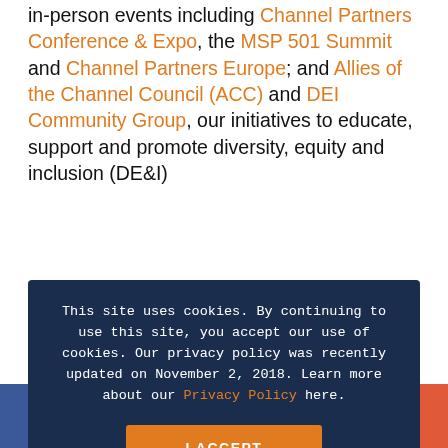in-person events including Channel Partners Conference & Expo, the MSP 501 Summit and Channel Partners Europe; and Allies of the Channel Council (ACC) and DEI Community Group, our initiatives to educate, support and promote diversity, equity and inclusion (DE&I)
This site uses cookies. By continuing to use this site, you accept our use of cookies. Our privacy policy was recently updated on November 2, 2018. Learn more about our Privacy Policy here.
I ACCEPT
market-leading B2B information provider with depth and specialization in ICT sector. Every year, we welcome 14,000+ subscribers to our